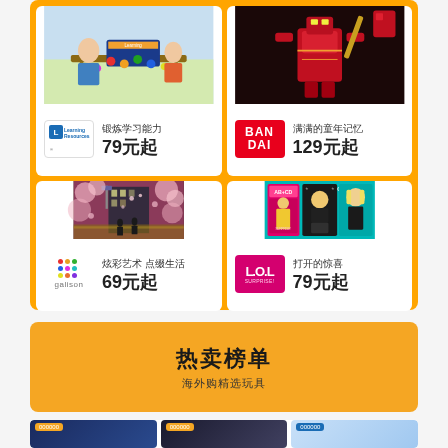[Figure (photo): Learning Resources toy image - children playing with building blocks]
锻炼学习能力
79元起
[Figure (photo): Bandai robot toy - red mecha figure]
满满的童年记忆
129元起
[Figure (photo): Galison art puzzle - cherry blossom street scene]
炫彩艺术 点缀生活
69元起
[Figure (photo): LOL Surprise dolls in packaging]
打开的惊喜
79元起
热卖榜单
海外购精选玩具
[Figure (photo): Bottom toy product image 1 - dark blue box]
[Figure (photo): Bottom toy product image 2 - dark box]
[Figure (photo): Bottom toy product image 3 - light blue box]